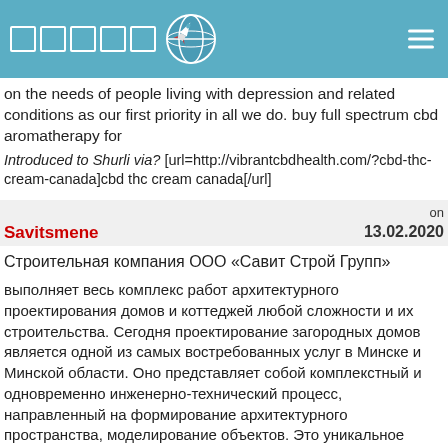[Figure (logo): Website header bar with square logo icons, globe icon, and hamburger menu]
on the needs of people living with depression and related conditions as our first priority in all we do. buy full spectrum cbd aromatherapy for
Introduced to Shurli via? [url=http://vibrantcbdhealth.com/?cbd-thc-cream-canada]cbd thc cream canada[/url]
Savitsmene on 13.02.2020
Строительная компания ООО «Савит Строй Групп»
выполняет весь комплекс работ архитектурного проектирования домов и коттеджей любой сложности и их строительства. Сегодня проектирование загородных домов является одной из самых востребованных услуг в Минске и Минской области. Оно представляет собой комплекстный и одновременно инженерно-технический процесс, направленный на формирование архитектурного пространства, моделирование объектов. Это уникальное явление, в результате которого на основе ваших слов и пожеланий сначала возникает образ дома, а затем и конкретное руководство по воплощению вашей мечты в